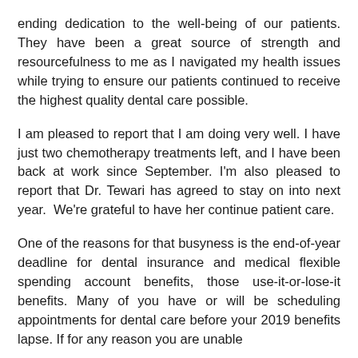ending dedication to the well-being of our patients. They have been a great source of strength and resourcefulness to me as I navigated my health issues while trying to ensure our patients continued to receive the highest quality dental care possible.
I am pleased to report that I am doing very well. I have just two chemotherapy treatments left, and I have been back at work since September. I'm also pleased to report that Dr. Tewari has agreed to stay on into next year. We're grateful to have her continue patient care.
One of the reasons for that busyness is the end-of-year deadline for dental insurance and medical flexible spending account benefits, those use-it-or-lose-it benefits. Many of you have or will be scheduling appointments for dental care before your 2019 benefits lapse. If for any reason you are unable